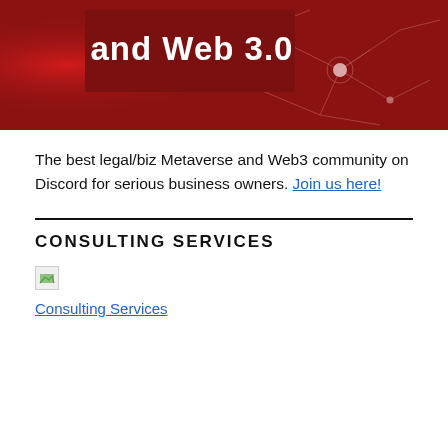[Figure (illustration): Dark red banner with neural network / glowing nodes graphic and bold white text reading 'and Web 3.0']
The best legal/biz Metaverse and Web3 community on Discord for serious business owners. Join us here!
CONSULTING SERVICES
[Figure (other): Broken image placeholder (small icon)]
Consulting Services